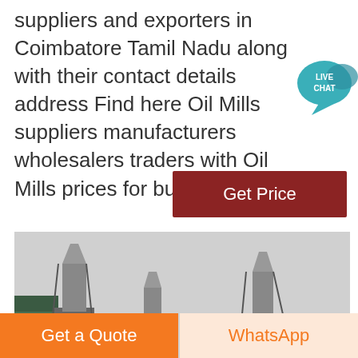Business listings of Oil Mills manufacturers suppliers and exporters in Coimbatore Tamil Nadu along with their contact details address Find here Oil Mills suppliers manufacturers wholesalers traders with Oil Mills prices for buying.
[Figure (other): Live Chat speech bubble icon with teal/blue color and text LIVE CHAT]
Get Price
[Figure (photo): Industrial oil mill silos and machinery structures photographed from below against a grey overcast sky. Grey metallic cylindrical silos with conveyor belts and scaffolding visible, and a green-painted building on the left.]
Get a Quote
WhatsApp